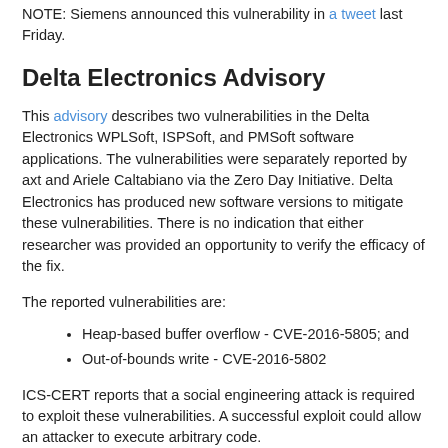NOTE: Siemens announced this vulnerability in a tweet last Friday.
Delta Electronics Advisory
This advisory describes two vulnerabilities in the Delta Electronics WPLSoft, ISPSoft, and PMSoft software applications. The vulnerabilities were separately reported by axt and Ariele Caltabiano via the Zero Day Initiative. Delta Electronics has produced new software versions to mitigate these vulnerabilities. There is no indication that either researcher was provided an opportunity to verify the efficacy of the fix.
The reported vulnerabilities are:
Heap-based buffer overflow - CVE-2016-5805; and
Out-of-bounds write - CVE-2016-5802
ICS-CERT reports that a social engineering attack is required to exploit these vulnerabilities. A successful exploit could allow an attacker to execute arbitrary code.